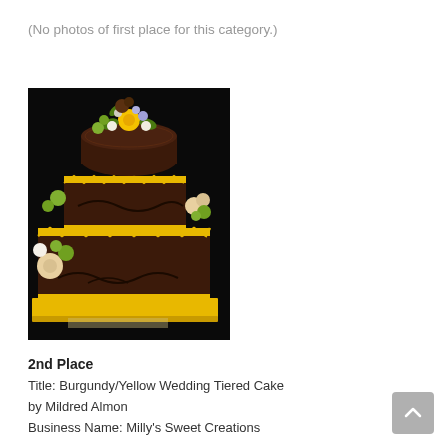(No photos of first place for this category.)
[Figure (photo): A two-tiered chocolate cake with yellow/gold trim and floral decorations on a yellow base board. The cake has dark chocolate frosting with yellow zigzag borders and scroll designs. Colorful flowers including yellow, green, white, and peach blooms decorate the top and sides. Background is dark/black.]
2nd Place
Title: Burgundy/Yellow Wedding Tiered Cake
by Mildred Almon
Business Name: Milly's Sweet Creations